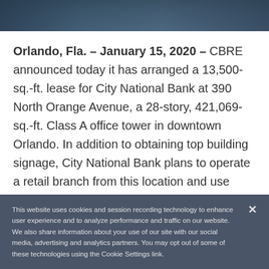[Figure (photo): Aerial or street-level nighttime photo of a downtown building/street scene with dark blue and teal tones]
Orlando, Fla. – January 15, 2020 – CBRE announced today it has arranged a 13,500-sq.-ft. lease for City National Bank at 390 North Orange Avenue, a 28-story, 421,069-sq.-ft. Class A office tower in downtown Orlando. In addition to obtaining top building signage, City National Bank plans to operate a retail branch from this location and use
This website uses cookies and session recording technology to enhance user experience and to analyze performance and traffic on our website. We also share information about your use of our site with our social media, advertising and analytics partners. You may opt out of some of these technologies using the Cookie Settings link.